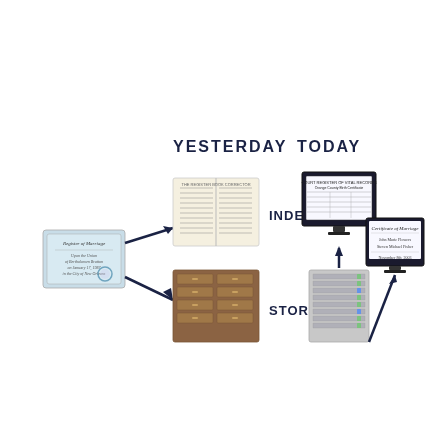[Figure (infographic): Infographic comparing YESTERDAY vs TODAY for records management. Yesterday: a Register of Marriage certificate on the left, arrows pointing to an open ledger book (INDEX) and a wooden card catalog cabinet (STORAGE). Today: arrows pointing from digital storage (a rack of drives) to a computer monitor showing an index table, and another monitor showing a Certificate of Marriage. Arrows show the flow from physical documents to digital systems.]